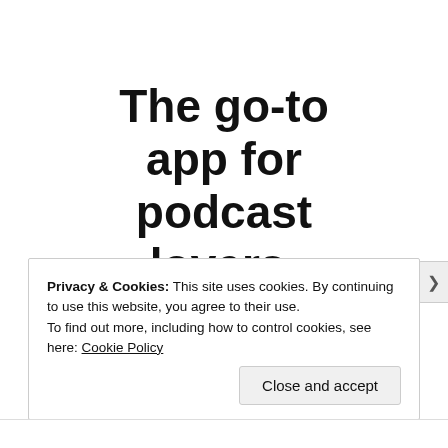The go-to app for podcast lovers.
Download now
Privacy & Cookies: This site uses cookies. By continuing to use this website, you agree to their use.
To find out more, including how to control cookies, see here: Cookie Policy
Close and accept